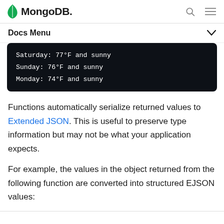MongoDB — Docs Menu
Saturday: 77°F and sunny
Sunday: 76°F and sunny
Monday: 74°F and sunny
Functions automatically serialize returned values to Extended JSON. This is useful to preserve type information but may not be what your application expects.
For example, the values in the object returned from the following function are converted into structured EJSON values: